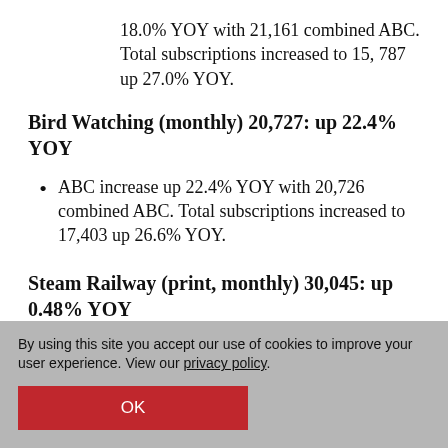18.0% YOY with 21,161 combined ABC. Total subscriptions increased to 15,787 up 27.0% YOY.
Bird Watching (monthly) 20,727: up 22.4% YOY
ABC increase up 22.4% YOY with 20,726 combined ABC. Total subscriptions increased to 17,403 up 26.6% YOY.
Steam Railway (print, monthly) 30,045: up 0.48% YOY
By using this site you accept our use of cookies to improve your user experience. View our privacy policy.
OK